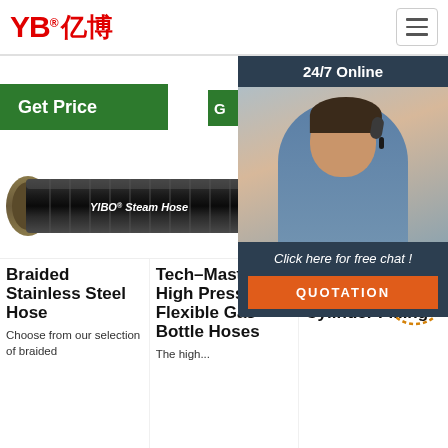[Figure (logo): YB亿博 logo in red with registered trademark symbol]
[Figure (screenshot): Hamburger menu icon button top right]
Get Price
Get Price
G (partial Get Price button)
[Figure (photo): 24/7 Online chat widget with female agent wearing headset, dark background, 'Click here for free chat!' text and orange QUOTATION button]
[Figure (photo): YIBO Steam Hose product image - black braided hose]
[Figure (photo): YIBO EN 856 4SH high pressure hose product image]
[Figure (photo): Braided stainless steel hose product image (partial)]
Braided Stainless Steel Hose
Choose from our selection of braided
Tech–Master High Pressure Flexible Gas Bottle Hoses
The high...
Oxygen Transfill Equipment, Cylinder Filling
[Figure (other): TOP badge/watermark in orange/gold dotted circle]